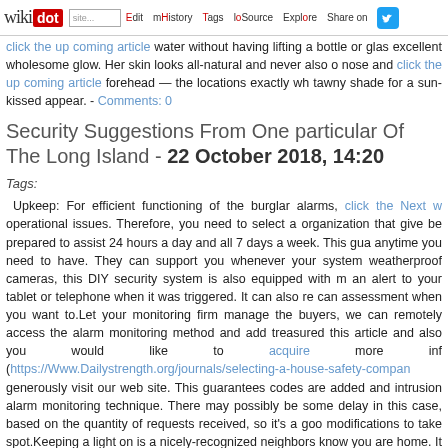wikidot | site Edit History Tags Source Explore Share on [twitter]
click the up coming article water without having lifting a bottle or glass excellent wholesome glow. Her skin looks all-natural and never also on nose and click the up coming article forehead — the locations exactly wh tawny shade for a sun-kissed appear. - Comments: 0
Security Suggestions From One particular Of The Long Island - 22 October 2018, 14:20
Tags:
Upkeep: For efficient functioning of the burglar alarms, click the Next w operational issues. Therefore, you need to select a organization that give be prepared to assist 24 hours a day and all 7 days a week. This gua anytime you need to have. They can support you whenever your system weatherproof cameras, this DIY security system is also equipped with m an alert to your tablet or telephone when it was triggered. It can also re can assessment when you want to. Let your monitoring firm manage the buyers, we can remotely access the alarm monitoring method and add treasured this article and also you would like to acquire more inf (https://Www.Dailystrength.org/journals/selecting-a-house-safety-compan generously visit our web site. This guarantees codes are added and intrusion alarm monitoring technique. There may possibly be some delay in this case, based on the quantity of requests received, so it's a goo modifications to take spot. Keeping a light on is a nicely-recognized neighbors know you are home. It really is also a intelligent way to trick home even when you are not. This is why you need to hold a light on no if you are property or not. And thanks to advances in technology , you ca your smartphone, enabling you to turn lights on and off in distinct room